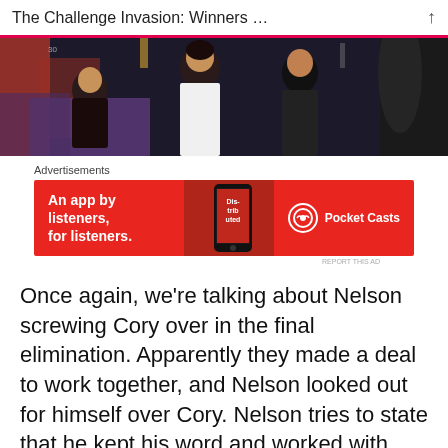The Challenge Invasion: Winners …
[Figure (photo): A TV show scene with people in a dark room setting, appearing to be from MTV's The Challenge reality show.]
Advertisements
[Figure (screenshot): Pocket Casts advertisement banner in red: 'An app by listeners, for listeners.' with phone graphic and Pocket Casts logo]
REPORT THIS AD
Once again, we're talking about Nelson screwing Cory over in the final elimination. Apparently they made a deal to work together, and Nelson looked out for himself over Cory. Nelson tries to state that he kept his word and worked with Cory all season,